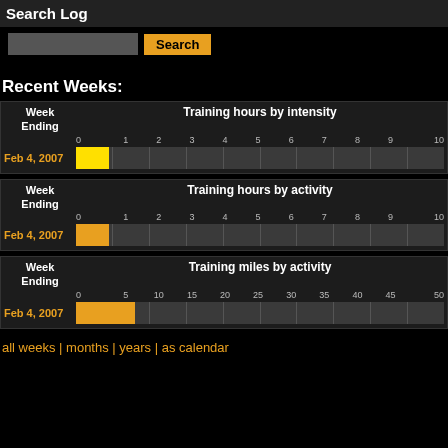Search Log
Search (button)
Recent Weeks:
[Figure (bar-chart): Week Ending Feb 4, 2007, yellow bar ~1 unit wide out of 10]
[Figure (bar-chart): Week Ending Feb 4, 2007, orange bar ~1 unit wide out of 10]
[Figure (bar-chart): Week Ending Feb 4, 2007, orange bar ~7 units wide out of 50]
all weeks | months | years | as calendar